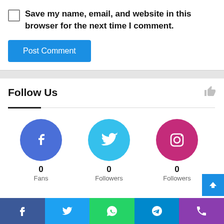Save my name, email, and website in this browser for the next time I comment.
Post Comment
Follow Us
[Figure (infographic): Three social media icons: Facebook (blue circle with F icon, 0 Fans), Twitter (cyan circle with bird icon, 0 Followers), Instagram (pink/magenta circle with camera icon, 0 Followers)]
[Figure (infographic): Bottom navigation bar with Facebook, Twitter, WhatsApp, Telegram, and Phone icons in colored backgrounds]